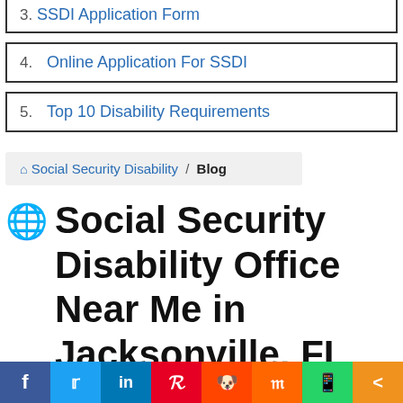3. SSDI Application Form
4. Online Application For SSDI
5. Top 10 Disability Requirements
Social Security Disability / Blog (breadcrumb)
🌐 Social Security Disability Office Near Me in Jacksonville, FL
Search For
1. Do I Qualify For Disability Benefits